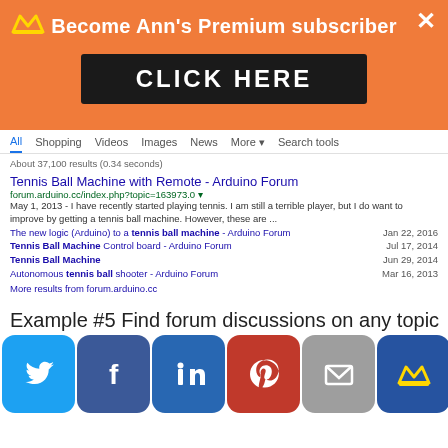[Figure (screenshot): Orange promotional banner with crown icon, text 'Become Ann's Premium subscriber', a dark 'CLICK HERE' button, and an X close button]
[Figure (screenshot): Google search results page showing results for 'tennis ball machine' with nav tabs (All, Shopping, Videos, Images, News, More, Search tools), result count '37,100 results (0.34 seconds)', two main results from forum.arduino.cc and forums.insidelacrosse.com with sub-results and dates]
Example #5 Find forum discussions on any topic
[Figure (screenshot): Social share bar with Twitter, Facebook, LinkedIn, Pinterest, Email, and Crown/premium buttons]